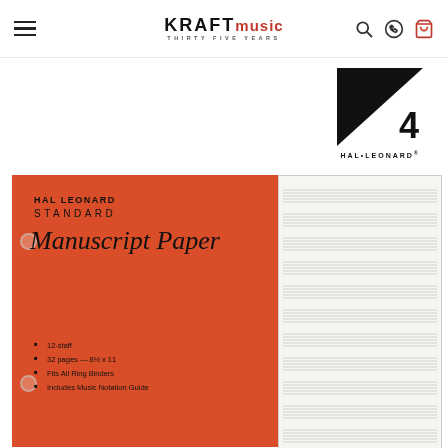Kraft Music - Thirty Five Years
[Figure (logo): Hal Leonard logo: black square with white diagonal slash and number 4, with HAL·LEONARD wordmark below]
[Figure (photo): Hal Leonard Standard Manuscript Paper product image showing red cover with title and feature bullets, alongside white music staff paper]